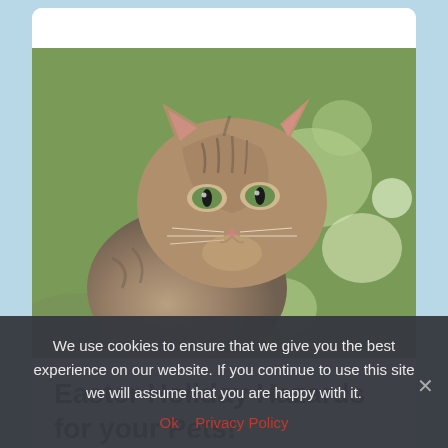[Figure (photo): Close-up photo of a tabby cat with green eyes looking sideways, with blurred green outdoor background]
Easter Holiday Hazards for your Pets!
We use cookies to ensure that we give you the best experience on our website. If you continue to use this site we will assume that you are happy with it.
Ok   Privacy Policy